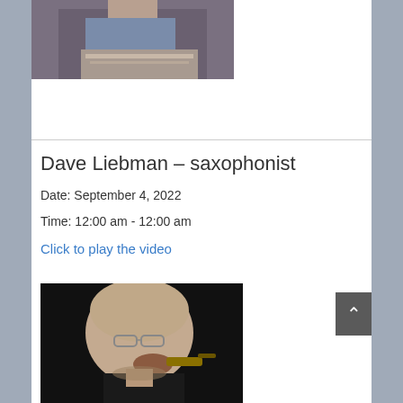[Figure (photo): Partial view of a musician at a keyboard/piano, cropped at the top of the page]
Dave Liebman – saxophonist
Date: September 4, 2022
Time: 12:00 am - 12:00 am
Click to play the video
[Figure (photo): Black and white photo of Dave Liebman, a bald man with glasses, playing a saxophone]